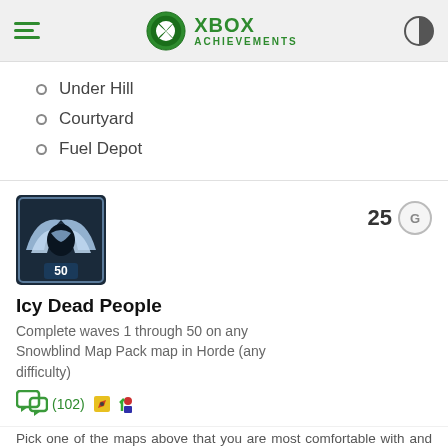XBOX ACHIEVEMENTS
Under Hill
Courtyard
Fuel Depot
[Figure (illustration): Xbox achievement badge showing a stylized wing/bird icon with '50' at the bottom on a dark blue background]
Icy Dead People
Complete waves 1 through 50 on any Snowblind Map Pack map in Horde (any difficulty)
(102) [comment and social icons] 25 G
Pick one of the maps above that you are most comfortable with and complete the entire run of horde mode (50 waves) on one of the maps. This does not have to be done in one sitting, you just need to do all 50 on the same map at some point. If you are not at the "Horde the Horde" achievement...